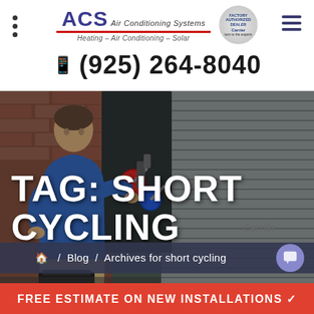ACS Air Conditioning Systems — Heating – Air Conditioning – Solar — (925) 264-8040
[Figure (photo): HVAC technician in blue shirt servicing an outdoor air conditioning unit next to a brick wall]
TAG: SHORT CYCLING
/ Blog / Archives for short cycling
FREE ESTIMATE ON NEW INSTALLATIONS ✓